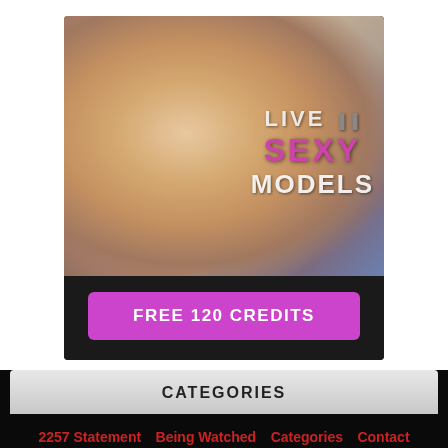[Figure (photo): Adult advertisement banner showing 'LIVE SEXY MODELS' text overlay with a 'FREE 120 CREDITS' button on dark background]
CATEGORIES
2257 Statement   Being Watched   Categories   Contact   DMCA
Most viewed   Privacy Policy   Random   Top rated
© 2022 - XVDEO.NET